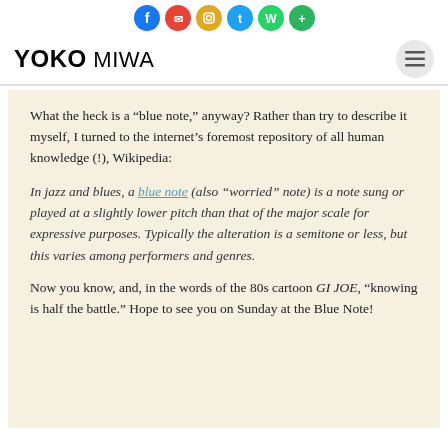[Figure (other): Row of social media icon circles (Facebook, email, Instagram, Twitter, WhatsApp, and another) in the page header area]
YOKO MIWA
What the heck is a “blue note,” anyway? Rather than try to describe it myself, I turned to the internet’s foremost repository of all human knowledge (!), Wikipedia:
In jazz and blues, a blue note (also “worried” note) is a note sung or played at a slightly lower pitch than that of the major scale for expressive purposes. Typically the alteration is a semitone or less, but this varies among performers and genres.
Now you know, and, in the words of the 80s cartoon GI JOE, “knowing is half the battle.” Hope to see you on Sunday at the Blue Note!